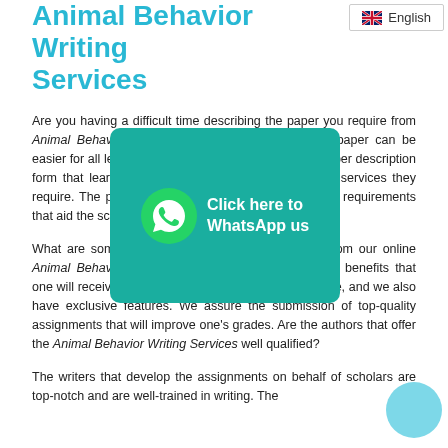Animal Behavior Writing Services
[Figure (infographic): WhatsApp click-to-contact button overlay with green background, phone icon, and white text: Click here to WhatsApp us]
Are you having a difficult time describing the paper you require from Animal Behavior Writing Services? Describing your paper can be easier for all learners since we have an exceptional paper description form that learners can utilize to describe the type of services they require. The paper description form has specific basic requirements that aid the scholar in explaining their behavior paper.
What are some of the benefits that one will relish from our online Animal Behavior Writing Services? There are unique benefits that one will receive from our services as they are all unique, and we also have exclusive features. We assure the submission of top-quality assignments that will improve one's grades. Are the authors that offer the Animal Behavior Writing Services well qualified?
The writers that develop the assignments on behalf of scholars are top-notch and are well-trained in writing. The